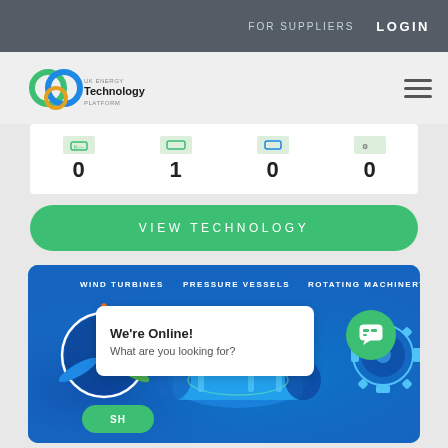FOR SUPPLIERS   LOGIN
[Figure (logo): UK Energy Technology Platform logo with interlocking circles in green and blue]
0  1  0  0
VIEW TECHNOLOGY
[Figure (illustration): Blue banner showing WIND TURBINES, PRESSURE VESSELS, ROTATING MACHINERY with engineering imagery]
We're Online! What are you looking for?